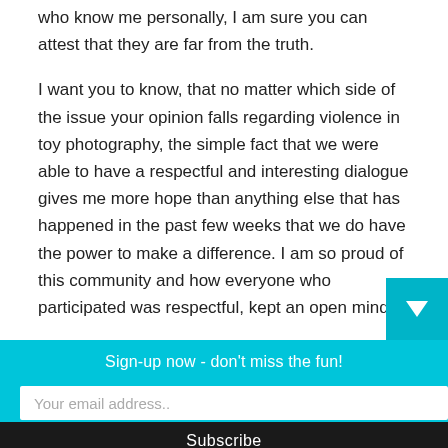who know me personally, I am sure you can attest that they are far from the truth.
I want you to know, that no matter which side of the issue your opinion falls regarding violence in toy photography, the simple fact that we were able to have a respectful and interesting dialogue gives me more hope than anything else that has happened in the past few weeks that we do have the power to make a difference. I am so proud of this community and how everyone who participated was respectful, kept an open mind a...
Sign-up now - don't miss the fun!
Your email address..
Subscribe